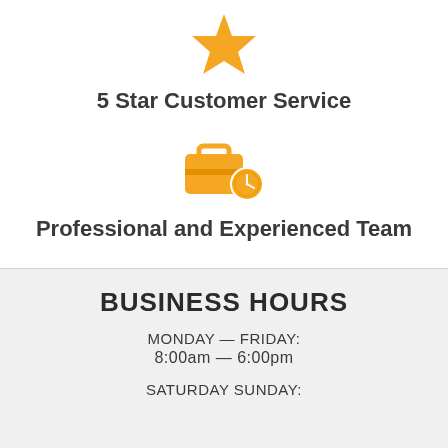[Figure (illustration): Gold star icon]
5 Star Customer Service
[Figure (illustration): Gold briefcase with clock icon]
Professional and Experienced Team
BUSINESS HOURS
MONDAY — FRIDAY:
8:00am — 6:00pm
SATURDAY SUNDAY: